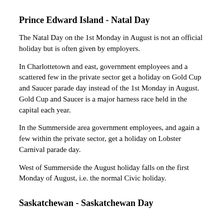Prince Edward Island - Natal Day
The Natal Day on the 1st Monday in August is not an official holiday but is often given by employers.
In Charlottetown and east, government employees and a scattered few in the private sector get a holiday on Gold Cup and Saucer parade day instead of the 1st Monday in August. Gold Cup and Saucer is a major harness race held in the capital each year.
In the Summerside area government employees, and again a few within the private sector, get a holiday on Lobster Carnival parade day.
West of Summerside the August holiday falls on the first Monday of August, i.e. the normal Civic holiday.
Saskatchewan - Saskatchewan Day